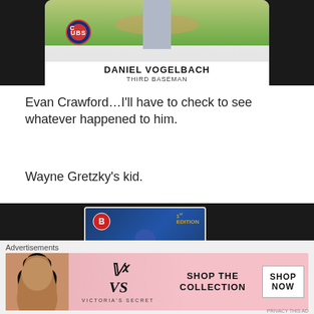[Figure (photo): Baseball card showing Daniel Vogelbach as Third Baseman for the Chicago Cubs, with Cubs logo visible on card]
Evan Crawford...I'll have to check to see whatever happened to him.
Wayne Gretzky's kid.
[Figure (photo): Bowman baseball card showing a batter in a blue helmet, with Bowman logo circle and '1st' badge]
Advertisements
[Figure (photo): Victoria's Secret advertisement banner showing a woman's face, VS logo, 'SHOP THE COLLECTION' text, and 'SHOP NOW' button]